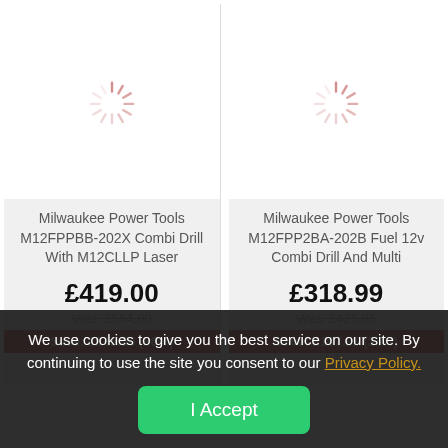[Figure (screenshot): Product card: Milwaukee Power Tools M12FPPBB-202X Combi Drill With M12CLLP Laser, price £419.00, was £564.00, save £145.00 (26%)]
[Figure (screenshot): Product card: Milwaukee Power Tools M12FPP2BA-202B Fuel 12v Combi Drill And Multi, price £318.99, was £426.85, save £107.86 (35%), with sale badge]
We use cookies to give you the best service on our site. By continuing to use the site you consent to our Privacy Policy.
I Accept